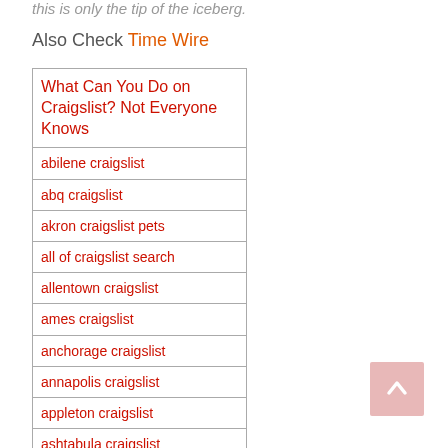this is only the tip of the iceberg.
Also Check Time Wire
| What Can You Do on Craigslist? Not Everyone Knows |
| abilene craigslist |
| abq craigslist |
| akron craigslist pets |
| all of craigslist search |
| allentown craigslist |
| ames craigslist |
| anchorage craigslist |
| annapolis craigslist |
| appleton craigslist |
| ashtabula craigslist |
| athens ohio craigslist |
| atlanta craigslist pets |
| augusta craigslist |
| austin craigslist jobs |
| austin craigslist pets |